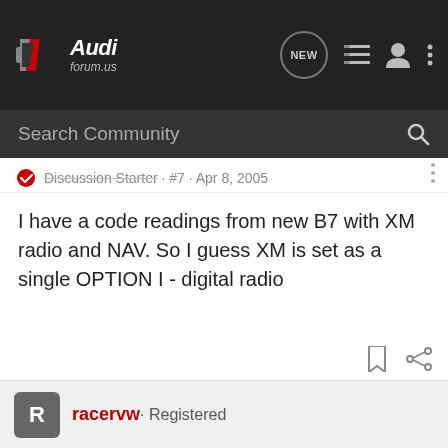AudiForum.us — Navigation bar with logo, NEW, list, user, and menu icons
Search Community
Discussion Starter · #7 · Apr 8, 2005
I have a code readings from new B7 with XM radio and NAV. So I guess XM is set as a single OPTION I - digital radio
racervw · Registered